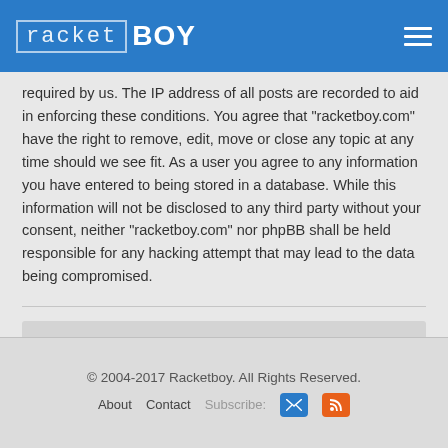racketBOY
required by us. The IP address of all posts are recorded to aid in enforcing these conditions. You agree that “racketboy.com” have the right to remove, edit, move or close any topic at any time should we see fit. As a user you agree to any information you have entered to being stored in a database. While this information will not be disclosed to any third party without your consent, neither “racketboy.com” nor phpBB shall be held responsible for any hacking attempt that may lead to the data being compromised.
Back to login screen
© 2004-2017 Racketboy. All Rights Reserved.
About   Contact   Subscribe: